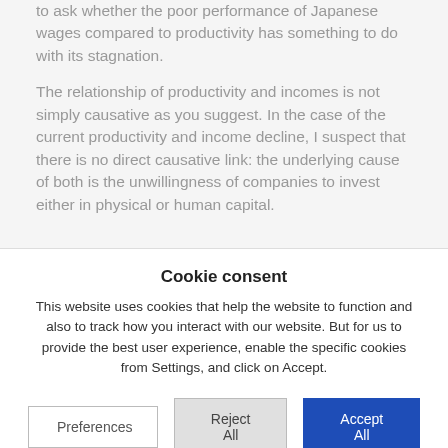to ask whether the poor performance of Japanese wages compared to productivity has something to do with its stagnation.
The relationship of productivity and incomes is not simply causative as you suggest. In the case of the current productivity and income decline, I suspect that there is no direct causative link: the underlying cause of both is the unwillingness of companies to invest either in physical or human capital.
Cookie consent
This website uses cookies that help the website to function and also to track how you interact with our website. But for us to provide the best user experience, enable the specific cookies from Settings, and click on Accept.